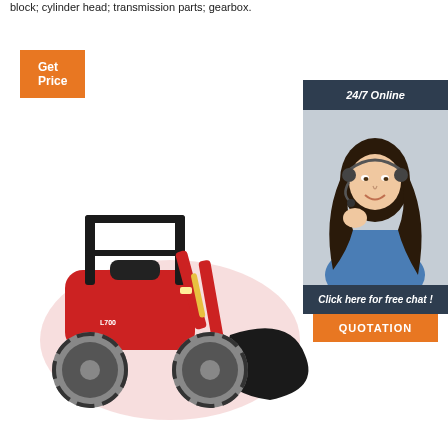block; cylinder head; transmission parts; gearbox.
[Figure (other): Orange 'Get Price' button]
[Figure (photo): Red compact wheel loader (L700 or similar) with front bucket attachment, photographed on white background]
[Figure (photo): Sidebar showing '24/7 Online' header with dark blue background, photo of female customer service agent wearing headset, text 'Click here for free chat!' and orange QUOTATION button]